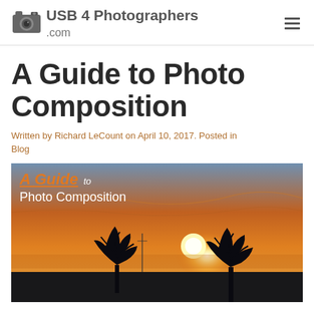USB 4 Photographers .com
A Guide to Photo Composition
Written by Richard LeCount on April 10, 2017. Posted in Blog
[Figure (photo): Hero image showing a sunset landscape with silhouetted trees and orange sky, overlaid with text 'A Guide to Photo Composition']